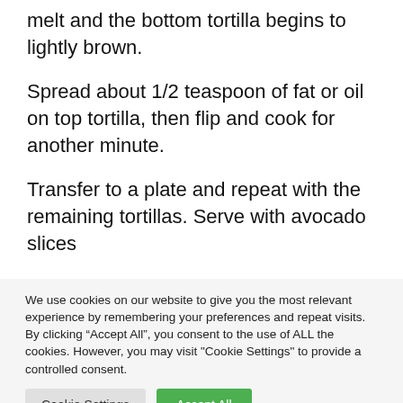melt and the bottom tortilla begins to lightly brown.
Spread about 1/2 teaspoon of fat or oil on top tortilla, then flip and cook for another minute.
Transfer to a plate and repeat with the remaining tortillas. Serve with avocado slices
We use cookies on our website to give you the most relevant experience by remembering your preferences and repeat visits. By clicking “Accept All”, you consent to the use of ALL the cookies. However, you may visit "Cookie Settings" to provide a controlled consent.